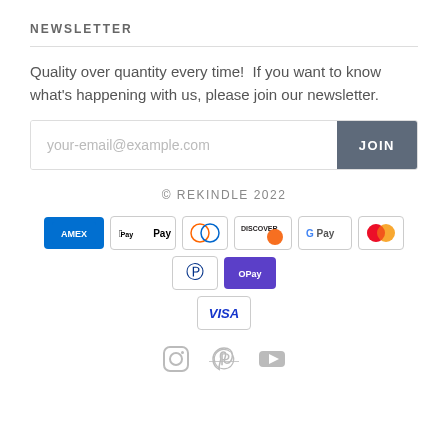NEWSLETTER
Quality over quantity every time!  If you want to know what's happening with us, please join our newsletter.
[Figure (other): Email input field with placeholder 'your-email@example.com' and a JOIN button]
© REKINDLE 2022
[Figure (other): Payment method icons: Amex, Apple Pay, Diners, Discover, Google Pay, Mastercard, PayPal, OPay, Visa]
[Figure (other): Social media icons: Instagram, Pinterest, YouTube]